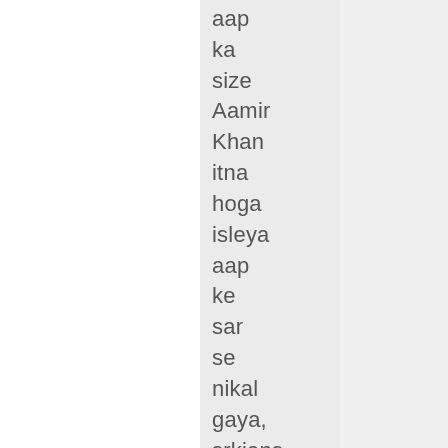aap ka size Aamir Khan itna hoga isleya aap ke sar se nikal gaya, srkians ke size ka